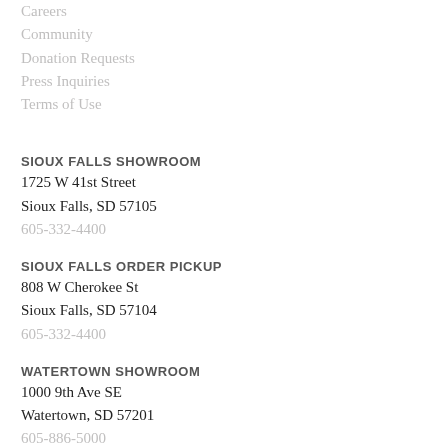Careers
Community
Donation Requests
Press Inquiries
Terms of Use
SIOUX FALLS SHOWROOM
1725 W 41st Street
Sioux Falls, SD 57105
605-332-4400
SIOUX FALLS ORDER PICKUP
808 W Cherokee St
Sioux Falls, SD 57104
605-332-4400
WATERTOWN SHOWROOM
1000 9th Ave SE
Watertown, SD 57201
605-886-5000